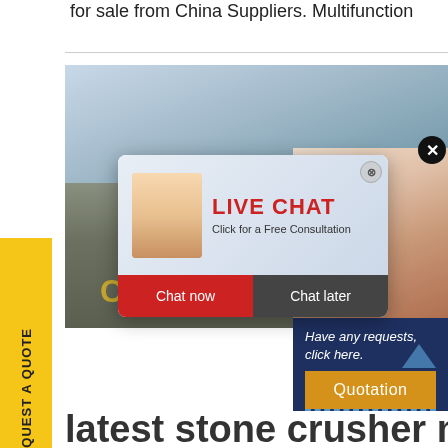for sale from China Suppliers. Multifunction
[Figure (screenshot): Website screenshot showing a machinery/stone crusher product page with a live chat popup overlay, a request a quote sidebar tab, an operator/customer service widget on the right, and a quotation button. Main background shows industrial machinery site with C&M M... logo.]
latest stone crusher mac...